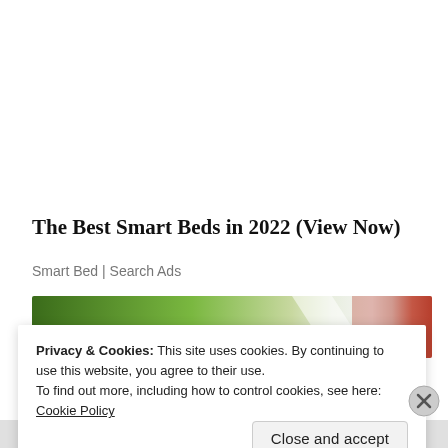The Best Smart Beds in 2022 (View Now)
Smart Bed | Search Ads
[Figure (photo): Blurred colorful image strip showing green and red/orange tones, part of an advertisement]
Privacy & Cookies: This site uses cookies. By continuing to use this website, you agree to their use.
To find out more, including how to control cookies, see here: Cookie Policy
Close and accept